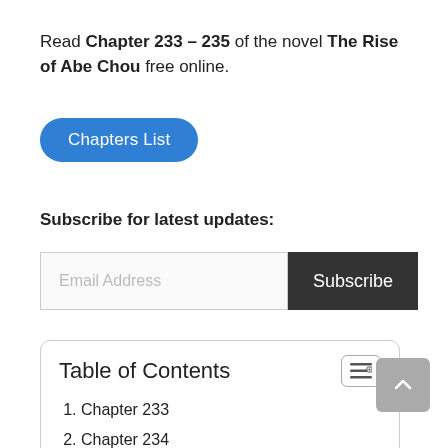Read Chapter 233 – 235 of the novel The Rise of Abe Chou free online.
Chapters List
Subscribe for latest updates:
Email Address
Subscribe
Table of Contents
1. Chapter 233
2. Chapter 234
3. Chapter 235